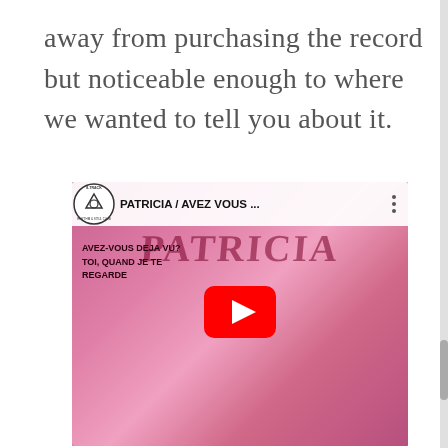away from purchasing the record but noticeable enough to where we wanted to tell you about it.
[Figure (screenshot): YouTube video thumbnail showing a record cover for 'PATRICIA / AVEZ VOUS...' with text 'AVEZ-VOUS DEJA VU? TOI, QUAND JE TE REGARDE' and a pink-tinted photo of a young woman with a bob haircut smiling. A YouTube play button is overlaid in the center. The channel logo (8-track/rhythm & soul club) is visible in the top left corner.]